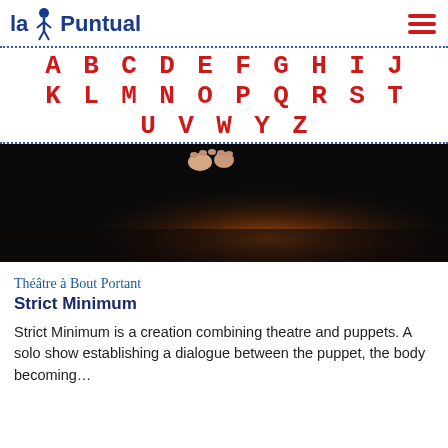La Puntual
A B C D E F G H I J K L M N O P Q R S T U V W Y Z
[Figure (photo): Dark stage photo showing feet or hands of a puppet/figure with a warm amber spotlight on a dark floor]
Théâtre à Bout Portant
Strict Minimum
Strict Minimum is a creation combining theatre and puppets. A solo show establishing a dialogue between the puppet, the body becoming…